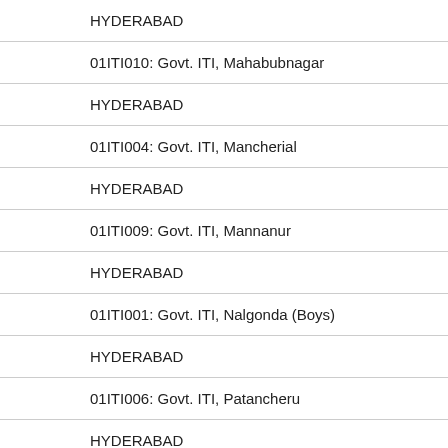| HYDERABAD |
| 01ITI010: Govt. ITI, Mahabubnagar |
| HYDERABAD |
| 01ITI004: Govt. ITI, Mancherial |
| HYDERABAD |
| 01ITI009: Govt. ITI, Mannanur |
| HYDERABAD |
| 01ITI001: Govt. ITI, Nalgonda (Boys) |
| HYDERABAD |
| 01ITI006: Govt. ITI, Patancheru |
| HYDERABAD |